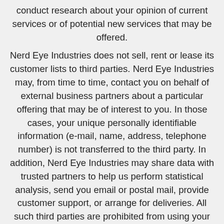conduct research about your opinion of current services or of potential new services that may be offered.
Nerd Eye Industries does not sell, rent or lease its customer lists to third parties. Nerd Eye Industries may, from time to time, contact you on behalf of external business partners about a particular offering that may be of interest to you. In those cases, your unique personally identifiable information (e-mail, name, address, telephone number) is not transferred to the third party. In addition, Nerd Eye Industries may share data with trusted partners to help us perform statistical analysis, send you email or postal mail, provide customer support, or arrange for deliveries. All such third parties are prohibited from using your personal information except to provide these services to Nerd Eye Industries, and they are required to maintain the confidentiality of your information.
Nerd Eye Industries does not use or disclose sensitive